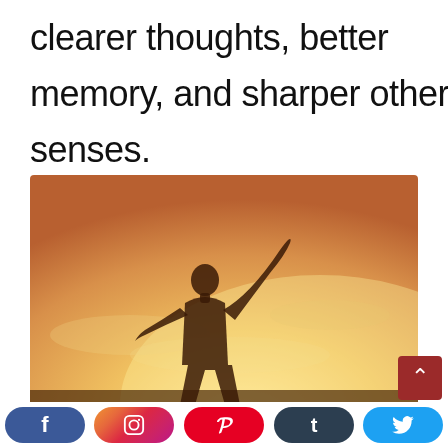clearer thoughts, better memory, and sharper other senses.
[Figure (photo): Person silhouetted against a warm golden sunset sky, arms raised wide open in a joyful or celebratory pose, viewed from behind.]
Social share bar with Facebook, Instagram, Pinterest, Tumblr, and Twitter buttons